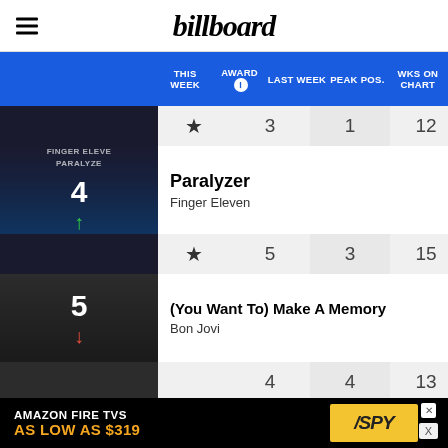billboard
| THIS WEEK | AWARD | LAST WEEK | PEAK POS. | WKS ON CHART |
| --- | --- | --- | --- | --- |
|  | ★ | 3 | 1 | 12 |
| 4 |  |  |  |  |
| Paralyzer / Finger Eleven |  |  |  |  |
|  | ★ | 5 | 3 | 15 |
| 5 |  |  |  |  |
| (You Want To) Make A Memory / Bon Jovi |  |  |  |  |
|  |  | 4 | 4 | 13 |
| 6 |  |  |  |  |
| Before He Cheats / Carrie Underwood |  |  |  |  |
[Figure (screenshot): Amazon Fire TVs advertisement banner at bottom of screen reading 'AMAZON FIRE TVS AS LOW AS $319' with SPY logo on yellow background]